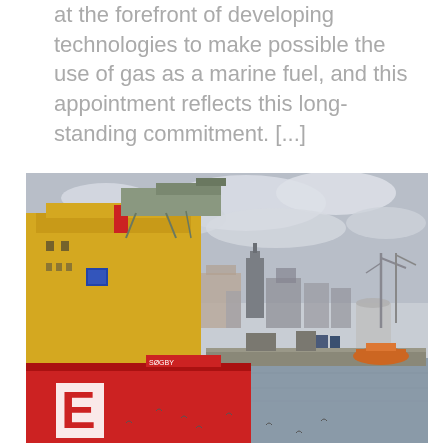at the forefront of developing technologies to make possible the use of gas as a marine fuel, and this appointment reflects this long-standing commitment. [...]
[Figure (photo): A large offshore supply vessel with yellow superstructure and red hull bearing a white 'E' logo, docked or departing a harbor. The background shows a city skyline with cranes, industrial tanks, and a lifeboat vessel visible. Seagulls are flying over the gray water in the foreground.]